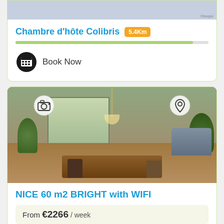[Figure (photo): Top portion of a bed/room photo (partially visible at top of page)]
Chambre d'hôte Colibris 5.4Km
[Figure (infographic): Green progress bar]
Book Now
[Figure (photo): Living/dining room with wooden table, chairs, plants, and glass doors opening to terrace. Camera and pin icons overlaid.]
NICE 60 m2 BRIGHT with WIFI
From €2266 / week